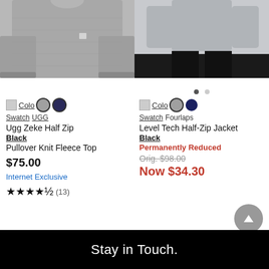[Figure (photo): Gray sweatshirt product photo cropped at top]
[Figure (photo): Man wearing gray top with black pants, torso shot]
Color Swatch UGG Ugg Zeke Half Zip Black Pullover Knit Fleece Top $75.00 Internet Exclusive ★★★★½ (13)
Color Swatch Fourlaps Level Tech Half-Zip Jacket Black Permanently Reduced Orig. $98.00 Now $34.30